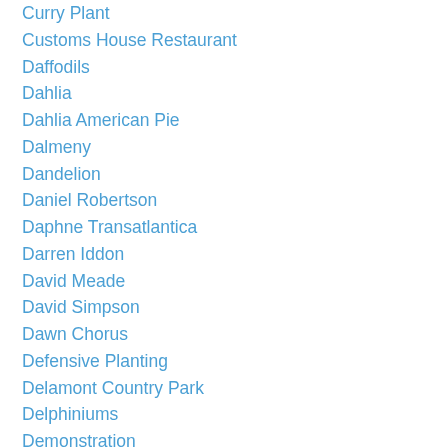Curry Plant
Customs House Restaurant
Daffodils
Dahlia
Dahlia American Pie
Dalmeny
Dandelion
Daniel Robertson
Daphne Transatlantica
Darren Iddon
David Meade
David Simpson
Dawn Chorus
Defensive Planting
Delamont Country Park
Delphiniums
Demonstration
Derry
Derry City Council
DerryDaily
Derry Daily